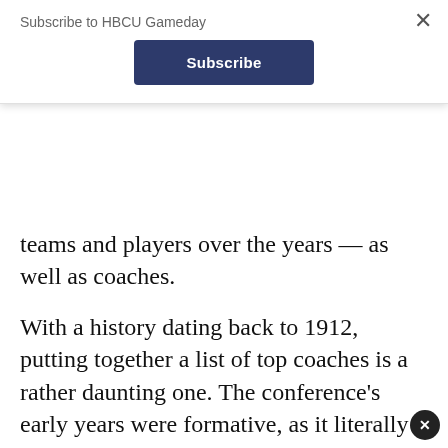Subscribe to HBCU Gameday
Subscribe
teams and players over the years — as well as coaches.
With a history dating back to 1912, putting together a list of top coaches is a rather daunting one. The conference's early years were formative, as it literally existed to help keep up with the so-called “tramp player” who might play at Howard one year, Virginia Union the next, and Shaw the next. The first 50 years of the conference included schools